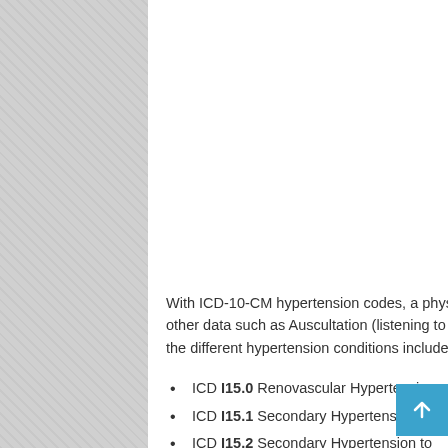With ICD-10-CM hypertension codes, a physician will be able to support diagnosis of hypertension with other data such as Auscultation (listening to sound with a stethoscope). Other codes that will be used for the different hypertension conditions include:
ICD I15.0 Renovascular Hypertension
ICD I15.1 Secondary Hypertension to Renal Disease
ICD I15.2 Secondary Hypertension to